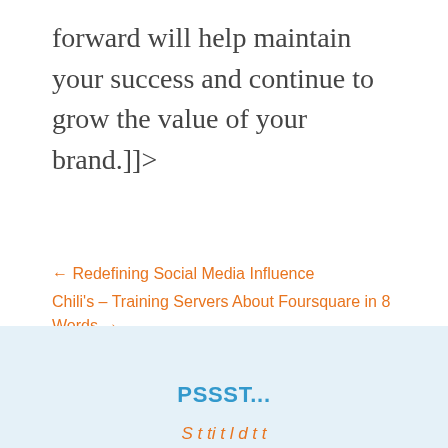forward will help maintain your success and continue to grow the value of your brand.]]>
← Redefining Social Media Influence
Chili's – Training Servers About Foursquare in 8 Words →
PSSST...